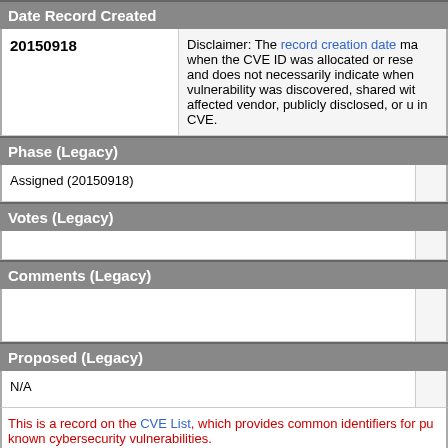Date Record Created
|  |  |
| --- | --- |
| 20150918 | Disclaimer: The record creation date ma... when the CVE ID was allocated or rese... and does not necessarily indicate when vulnerability was discovered, shared wi... affected vendor, publicly disclosed, or u... in CVE. |
Phase (Legacy)
| Assigned (20150918) |  |
Votes (Legacy)
|  |  |
Comments (Legacy)
|  |  |
Proposed (Legacy)
| N/A |  |
This is a record on the CVE List, which provides common identifiers for pu... known cybersecurity vulnerabilities.
SEARCH CVE USING KEYWORDS:
Submit
You can also search by reference using the CVE Reference Maps.
For More Information: CVE Request Web Form (select "Other"